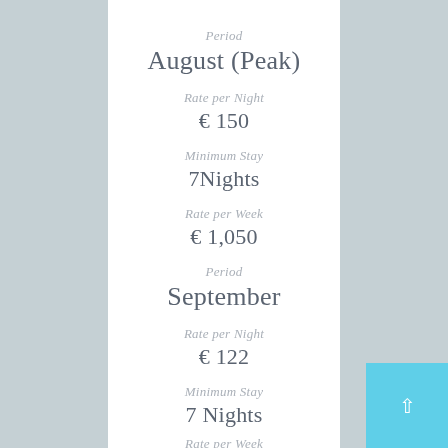Period
August (Peak)
Rate per Night
€ 150
Minimum Stay
7Nights
Rate per Week
€ 1,050
Period
September
Rate per Night
€ 122
Minimum Stay
7 Nights